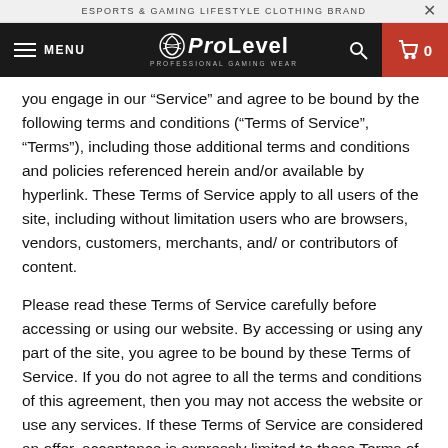ESPORTS & GAMING LIFESTYLE CLOTHING BRAND
[Figure (logo): ProLevel Professional Gaming Wear logo with hamburger menu and cart icon navigation bar]
you engage in our “Service” and agree to be bound by the following terms and conditions (“Terms of Service”, “Terms”), including those additional terms and conditions and policies referenced herein and/or available by hyperlink. These Terms of Service apply to all users of the site, including without limitation users who are browsers, vendors, customers, merchants, and/ or contributors of content.
Please read these Terms of Service carefully before accessing or using our website. By accessing or using any part of the site, you agree to be bound by these Terms of Service. If you do not agree to all the terms and conditions of this agreement, then you may not access the website or use any services. If these Terms of Service are considered an offer, acceptance is expressly limited to these Terms of Service.